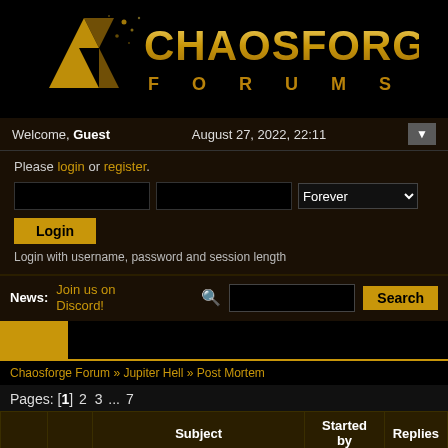[Figure (logo): Chaosforge Forums logo — gold angular icon with 'CHAOSFORGE' in gold letters, 'F O R U M S' below in spaced gold letters, black background]
Welcome, Guest	August 27, 2022, 22:11
Please login or register.
Login
Login with username, password and session length
News:  Join us on Discord!	Search
Chaosforge Forum » Jupiter Hell » Post Mortem
Pages: [1] 2 3 ... 7
|  |  | Subject | Started by | Replies |
| --- | --- | --- | --- | --- |
|  |  | [1.4f|U|Sc|AoB|YAAM] Quad Ghost | Tormuse | 0 |